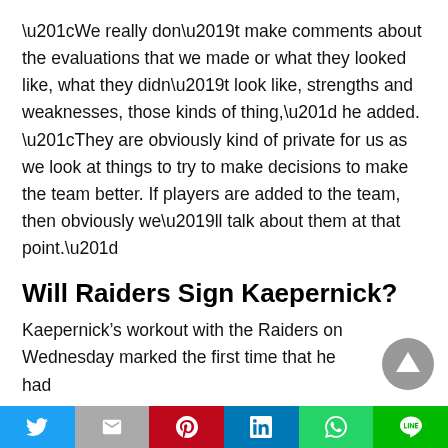“We really don’t make comments about the evaluations that we made or what they looked like, what they didn’t look like, strengths and weaknesses, those kinds of thing,” he added. “They are obviously kind of private for us as we look at things to try to make decisions to make the team better. If players are added to the team, then obviously we’ll talk about them at that point.”
Will Raiders Sign Kaepernick?
Kaepernick’s workout with the Raiders on Wednesday marked the first time that he had
[Figure (other): Grey circular scroll-to-top button with upward triangle icon]
Social share bar: Twitter, Mail, Pinterest, LinkedIn, WhatsApp, LINE